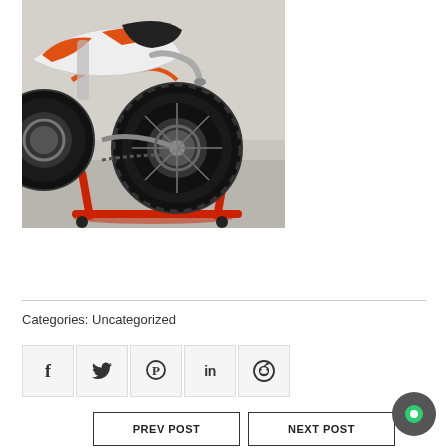[Figure (photo): A dirt bike / motocross motorcycle (KTM style, white and orange) on a red paddock stand, viewed from the rear right angle, in a garage setting.]
Categories: Uncategorized
[Figure (infographic): Social share buttons row: Facebook (f), Twitter (bird), Pinterest (P), LinkedIn (in), Reddit (alien circle)]
PREV POST
NEXT POST